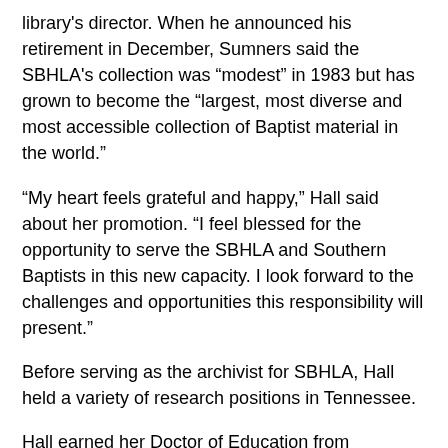library's director. When he announced his retirement in December, Sumners said the SBHLA's collection was “modest” in 1983 but has grown to become the “largest, most diverse and most accessible collection of Baptist material in the world.”
“My heart feels grateful and happy,” Hall said about her promotion. “I feel blessed for the opportunity to serve the SBHLA and Southern Baptists in this new capacity. I look forward to the challenges and opportunities this responsibility will present.”
Before serving as the archivist for SBHLA, Hall held a variety of research positions in Tennessee.
Hall earned her Doctor of Education from Tennessee State University, Master of Arts from Middle Tennessee State University, and Bachelor of Arts from Tennessee Wesleyan College. She has been a member of Brentwood Baptist Church in Brentwood since 2005.
About the Author